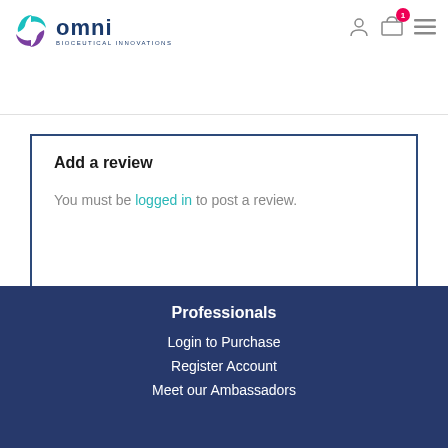[Figure (logo): Omni Bioceutical Innovations logo with teal/purple swirl icon]
…I decided to use it while I was there. I started to notice a difference at about a week and half. I have to order it and am not going back to my other brand!
Add a review
You must be logged in to post a review.
Professionals
Login to Purchase
Register Account
Meet our Ambassadors